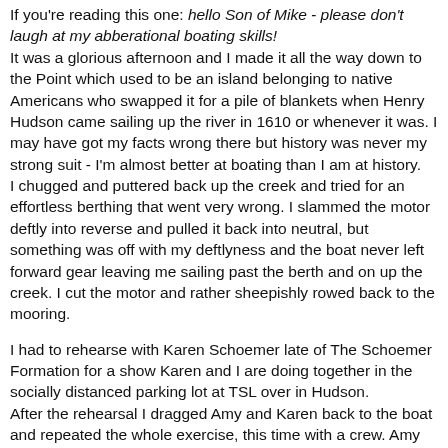If you're reading this one: hello Son of Mike - please don't laugh at my abberational boating skills! It was a glorious afternoon and I made it all the way down to the Point which used to be an island belonging to native Americans who swapped it for a pile of blankets when Henry Hudson came sailing up the river in 1610 or whenever it was. I may have got my facts wrong there but history was never my strong suit - I'm almost better at boating than I am at history.
I chugged and puttered back up the creek and tried for an effortless berthing that went very wrong. I slammed the motor deftly into reverse and pulled it back into neutral, but something was off with my deftlyness and the boat never left forward gear leaving me sailing past the berth and on up the creek. I cut the motor and rather sheepishly rowed back to the mooring.
I had to rehearse with Karen Schoemer late of The Schoemer Formation for a show Karen and I are doing together in the socially distanced parking lot at TSL over in Hudson.
After the rehearsal I dragged Amy and Karen back to the boat and repeated the whole exercise, this time with a crew. Amy drank wine while Karen gazed around in wonder.